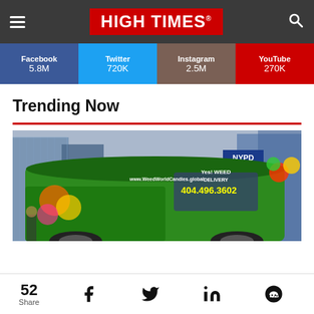HIGH TIMES
| Facebook | Twitter | Instagram | YouTube |
| --- | --- | --- | --- |
| 5.8M | 720K | 2.5M | 270K |
Trending Now
[Figure (photo): A large green weed-themed van/truck with 'www.WeedWorldCandies.global', 'Yes! WEED DELIVERY', '404.496.3602' text on the side, parked in Times Square NYC with NYPD sign visible in background.]
52 Share